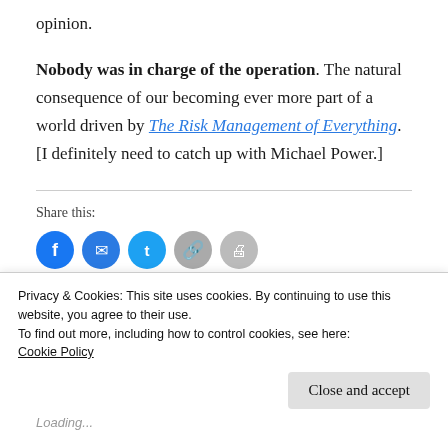opinion.
Nobody was in charge of the operation. The natural consequence of our becoming ever more part of a world driven by The Risk Management of Everything. [I definitely need to catch up with Michael Power.]
Share this:
[Figure (other): Row of social share icon circles: Facebook (blue), Email (blue), Twitter (blue), Link (gray), Print (gray)]
Privacy & Cookies: This site uses cookies. By continuing to use this website, you agree to their use.
To find out more, including how to control cookies, see here:
Cookie Policy
Close and accept
Loading...